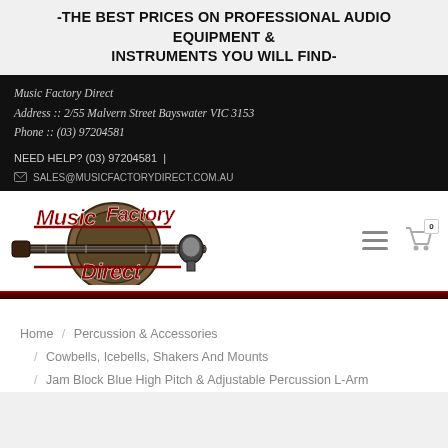-THE BEST PRICES ON PROFESSIONAL AUDIO EQUIPMENT & INSTRUMENTS YOU WILL FIND-
Music Factory Direct
Address :: 2/55 Malvern Street Bayswater VIC 3153
Phone :: (03) 97204581
NEED HELP? (03) 97204581  |
SALES@MUSICFACTORYDIRECT.COM.AU
[Figure (logo): Music Factory Direct logo with guitar and microphone imagery]
Home / Percussion & Accessories / Cowbells, Icebells, Shakers And Mounts / Jam Block Blue High Pitch & Adjustable Percussion L-Arm